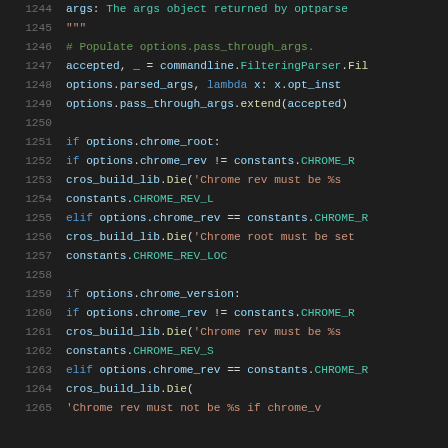[Figure (screenshot): Python source code editor screenshot showing lines 1244-1265 with syntax highlighting. Dark background with colored tokens for keywords, strings, and identifiers.]